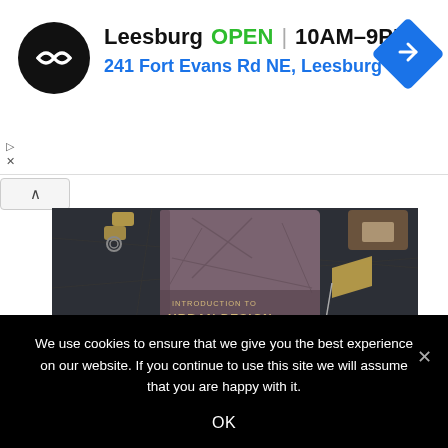[Figure (screenshot): Google Maps ad banner showing Leesburg store location with logo, OPEN status, hours 10AM-9PM, address 241 Fort Evans Rd NE Leesburg, and a blue direction diamond icon]
[Figure (photo): Book cover titled 'Introduction to Urban Design' displayed on a dark surface with binder clips and a small wooden flag]
We use cookies to ensure that we give you the best experience on our website. If you continue to use this site we will assume that you are happy with it.
OK